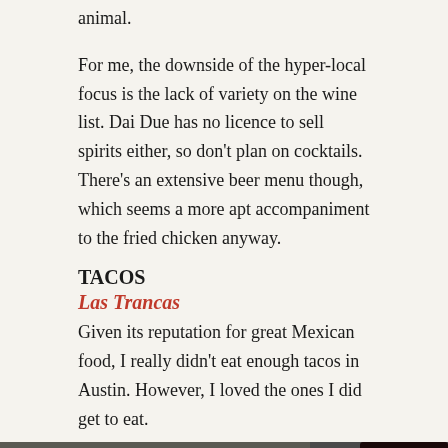animal.
For me, the downside of the hyper-local focus is the lack of variety on the wine list. Dai Due has no licence to sell spirits either, so don't plan on cocktails. There's an extensive beer menu though, which seems a more apt accompaniment to the fried chicken anyway.
TACOS
Las Trancas
Given its reputation for great Mexican food, I really didn't eat enough tacos in Austin. However, I loved the ones I did get to eat.
[Figure (photo): Exterior night photo of Las Trancas taco restaurant showing illuminated menu board, OPEN neon sign, phone number 2-701-8287, and large Las Trancas signage at bottom]